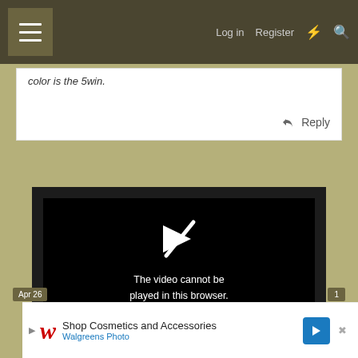Menu | Log in | Register
color is the 5win.
Reply
[Figure (screenshot): Video player showing error: The video cannot be played in this browser. (Error Code: 242632)]
Apr 26
1
[Figure (infographic): Advertisement: Shop Cosmetics and Accessories - Walgreens Photo]